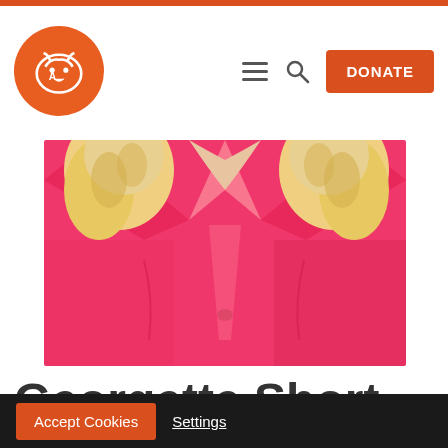Navigation header with logo, hamburger menu, search icon, and DONATE button
[Figure (photo): Close-up photo of a person wearing a bright hot-pink/fuchsia button-up blouse with a collar, with curly blonde hair visible on both sides]
Georgette Short
Sent from Vineyard Baptist Church...
Accept Cookies   Settings